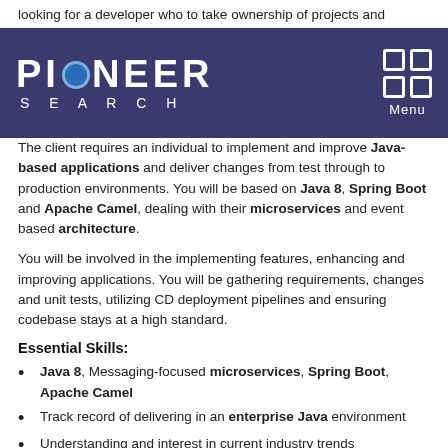looking for a developer who to take ownership of projects and maintain their own deliverables.
PIONEER SEARCH
The client requires an individual to implement and improve Java-based applications and deliver changes from test through to production environments. You will be based on Java 8, Spring Boot and Apache Camel, dealing with their microservices and event based architecture.
You will be involved in the implementing features, enhancing and improving applications. You will be gathering requirements, changes and unit tests, utilizing CD deployment pipelines and ensuring codebase stays at a high standard.
Essential Skills:
Java 8, Messaging-focused microservices, Spring Boot, Apache Camel
Track record of delivering in an enterprise Java environment
Understanding and interest in current industry trends
Knowledge of computer science fundamentals and distributed protocols
Desirable Skills: